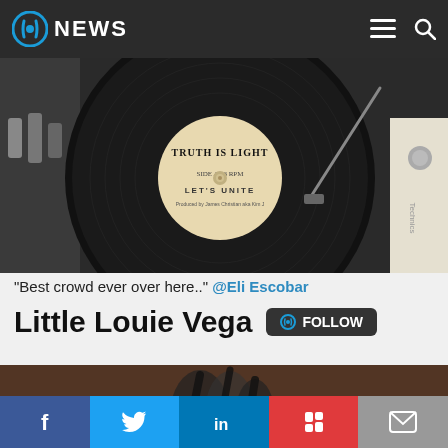NEWS
[Figure (photo): Vinyl record on a turntable with label reading 'TRUTH IS LIGHT - LET'S UNITE']
“Best crowd ever over here..” @Eli Escobar
Little Louie Vega
[Figure (photo): Crowd at a concert with silhouetted hands raised]
Facebook, Twitter, LinkedIn, Flipboard, Email social share buttons